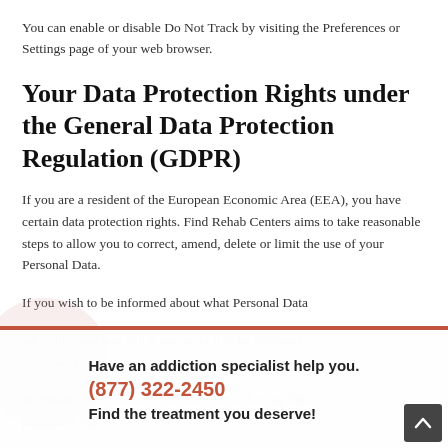You can enable or disable Do Not Track by visiting the Preferences or Settings page of your web browser.
Your Data Protection Rights under the General Data Protection Regulation (GDPR)
If you are a resident of the European Economic Area (EEA), you have certain data protection rights. Find Rehab Centers aims to take reasonable steps to allow you to correct, amend, delete or limit the use of your Personal Data.
If you wish to be informed about what Personal Data we hold about you and if you want it to be removed from our systems, please contact us.
In certain circumstances, you have the following data protection rights.
Have an addiction specialist help you.
(877) 322-2450
Find the treatment you deserve!